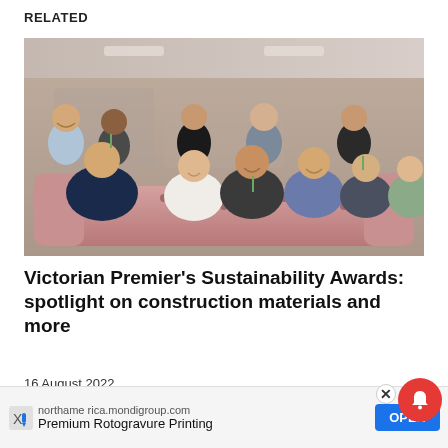RELATED
[Figure (photo): Group photo of approximately 10 people sitting on pink/dusty rose sofas in a modern office lounge setting. They are smiling and posed for the photo.]
Victorian Premier’s Sustainability Awards: spotlight on construction materials and more
16 August 2022
northamerica.mondigroup.com Premium Rotogravure Printing